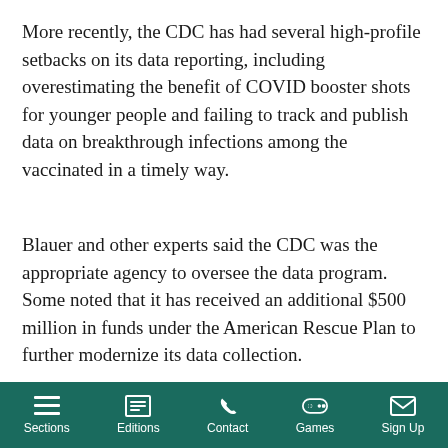More recently, the CDC has had several high-profile setbacks on its data reporting, including overestimating the benefit of COVID booster shots for younger people and failing to track and publish data on breakthrough infections among the vaccinated in a timely way.
Blauer and other experts said the CDC was the appropriate agency to oversee the data program. Some noted that it has received an additional $500 million in funds under the American Rescue Plan to further modernize its data collection.
“What we really need to do,” said Dr. Celine Gounder, a member of the Biden Administration’s transition team, “is hold them
Sections | Editions | Contact | Games | Sign Up